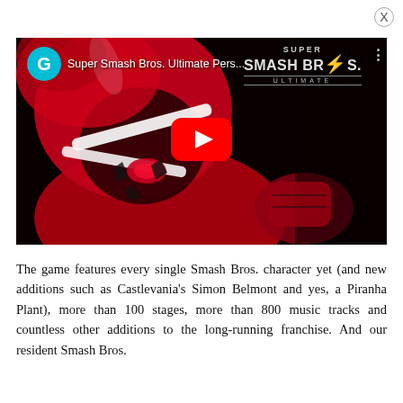[Figure (screenshot): YouTube video thumbnail for 'Super Smash Bros. Ultimate Pers...' showing a red-and-black anime masked character (Joker from Persona 5) against a dark background, with the Super Smash Bros. Ultimate logo in the top-right, a teal Gamespot channel icon in the top-left, and a red YouTube play button in the center.]
The game features every single Smash Bros. character yet (and new additions such as Castlevania's Simon Belmont and yes, a Piranha Plant), more than 100 stages, more than 800 music tracks and countless other additions to the long-running franchise. And our resident Smash Bros.